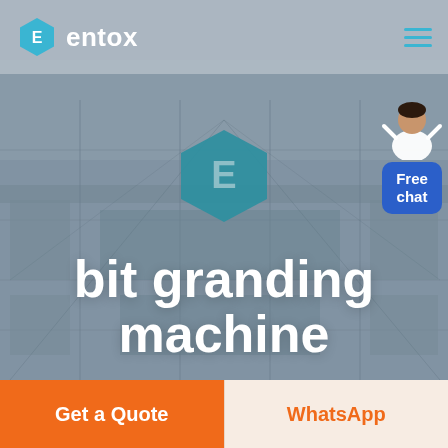[Figure (screenshot): Entox website hero section showing aerial view of an industrial facility as background, with Entox logo in header, large hexagon logo centered, and headline 'bit granding machine'. Includes a Free chat widget on the right side and two CTA buttons at bottom.]
bit granding machine
Get a Quote
WhatsApp